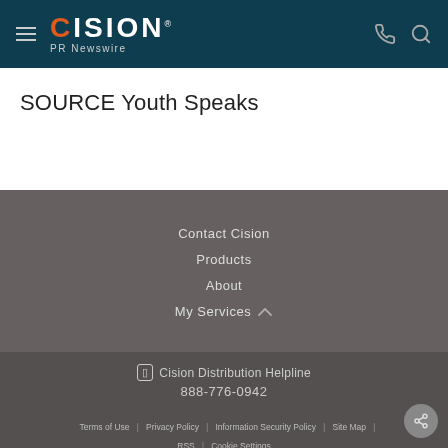CISION PR Newswire
SOURCE Youth Speaks
Contact Cision
Products
About
My Services
Cision Distribution Helpline 888-776-0942
Terms of Use | Privacy Policy | Information Security Policy | Site Map | RSS | Cookie Settings
Copyright © 2022 Cision US Inc.